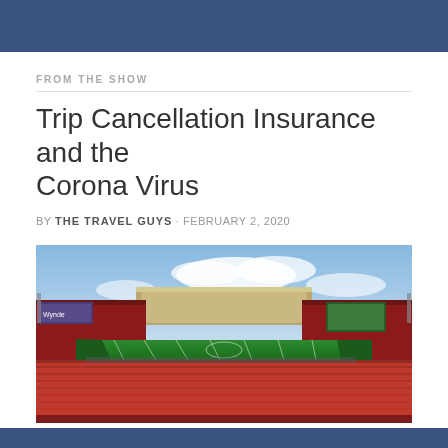FROM THE SHOW
Trip Cancellation Insurance and the Corona Virus
BY THE TRAVEL GUYS · FEBRUARY 2, 2020
[Figure (photo): Panoramic aerial view of a packed football stadium with a green field and red seating sections under a blue sky with clouds]